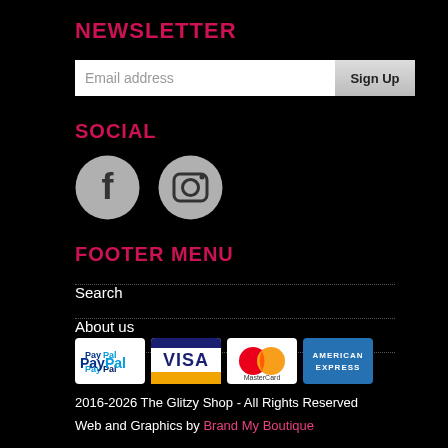NEWSLETTER
[Figure (screenshot): Email address input field with Sign Up button]
SOCIAL
[Figure (illustration): Facebook and Instagram social media icons (circular grey icons)]
FOOTER MENU
Search
About us
[Figure (illustration): Payment method logos: PayPal, Visa, MasterCard, American Express]
2016-2026 The Glitzy Shop - All Rights Reserved
Web and Graphics by Brand My Boutique